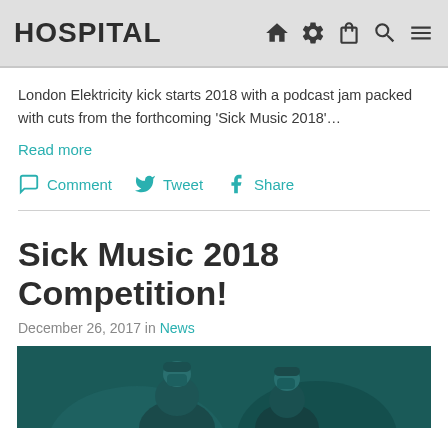HOSPITAL
London Elektricity kick starts 2018 with a podcast jam packed with cuts from the forthcoming ‘Sick Music 2018’…
Read more
Comment  Tweet  Share
Sick Music 2018 Competition!
December 26, 2017 in News
[Figure (photo): Two surgeons in teal scrubs and surgical caps performing an operation, photographed from below/front, dark teal toned image]